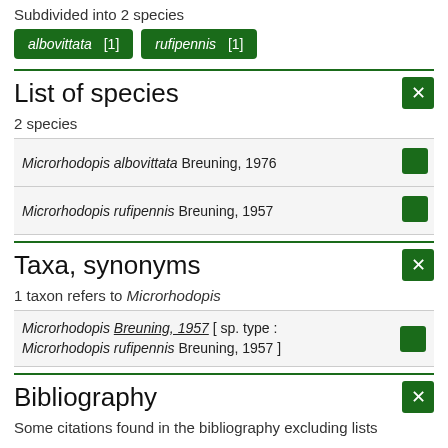Subdivided into 2 species
albovittata [1]   rufipennis [1]
List of species
2 species
| Name |  |
| --- | --- |
| Microrhodopis albovittata Breuning, 1976 |  |
| Microrhodopis rufipennis Breuning, 1957 |  |
Taxa, synonyms
1 taxon refers to Microrhodopis
| Name |  |
| --- | --- |
| Microrhodopis Breuning, 1957 [ sp. type : Microrhodopis rufipennis Breuning, 1957 ] |  |
Bibliography
Some citations found in the bibliography excluding lists